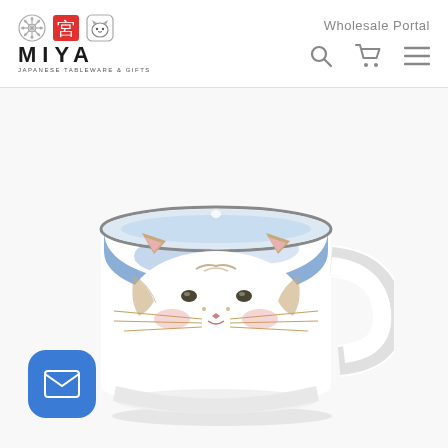MIYA Japanese Tableware & Gifts — Wholesale Portal
[Figure (photo): White ceramic mug with hand-painted cat face design. The upper portion of the mug has a blue watercolor wash background with cat ears (pink inner ears, brown markings) peeking up. Below is a white fluffy cat face with brown markings, pink cheeks, whiskers, and a small nose, painted in a Japanese folk art style. The mug has a dark rim at the top and a white handle on the right side.]
[Figure (other): Blue rounded square button with white envelope/mail icon, positioned in bottom-left corner of page.]